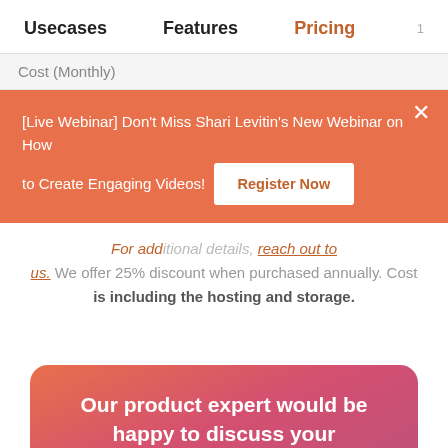Usecases   Features   Pricing   1
Cost (Monthly)
[Live Webinar] Don't Miss Shari Levitin's New Webinar on How to Create Engaging Videos!   Register Now
For additional details, reach out to us. We offer 25% discount when purchased annually. Cost is including the hosting and storage.
Our product expert would be happy to discuss your business use case!